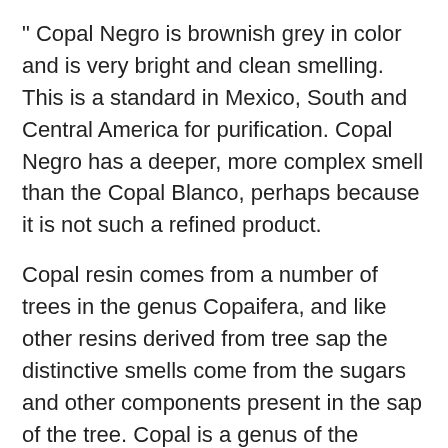" Copal Negro is brownish grey in color and is very bright and clean smelling. This is a standard in Mexico, South and Central America for purification. Copal Negro has a deeper, more complex smell than the Copal Blanco, perhaps because it is not such a refined product.
Copal resin comes from a number of trees in the genus Copaifera, and like other resins derived from tree sap the distinctive smells come from the sugars and other components present in the sap of the tree. Copal is a genus of the western hemisphere, and in many ways it is the western equivalent of Frankincense, and is used ritually in very similar ways, for purification, blessing, and to create a spiritual environment that calls out our Higher Powers. Enjoy Copal Negro by itself in its purest form, or blend it with other herbs and resins for your own formulas. Copal Oro works better than Copal Blanco with woodsy and mysterious scents.
The below correspondence are via Cunningham